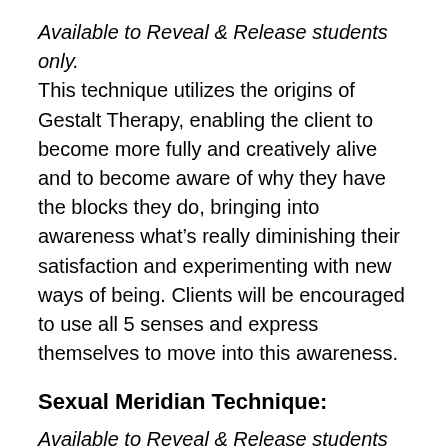Available to Reveal & Release students only. This technique utilizes the origins of Gestalt Therapy, enabling the client to become more fully and creatively alive and to become aware of why they have the blocks they do, bringing into awareness what’s really diminishing their satisfaction and experimenting with new ways of being. Clients will be encouraged to use all 5 senses and express themselves to move into this awareness.
Sexual Meridian Technique:
Available to Reveal & Release students only. This technique is an integration of Fascia Unwinding, Lymphatic Drainage, Gestalt Therapy and Chinese Medicine. When the